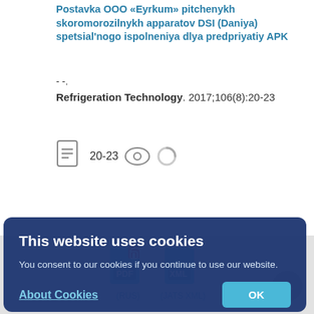Postavka OOO «Eyrkum» pitchenykh skoromorozilnykh apparatov DSI (Daniya) spetsial'nogo ispolneniya dlya predpriyatiy APK
- -.
Refrigeration Technology. 2017;106(8):20-23
[Figure (screenshot): Page icon with text 20-23, eye icon, and loading circle icon]
This website uses cookies
You consent to our cookies if you continue to use our website.
About Cookies
OK
[Figure (screenshot): PDF (RUS) and XML (JATS XML) download icons at the bottom, with lock icon on PDF]
(RUS)
(JATS XML)